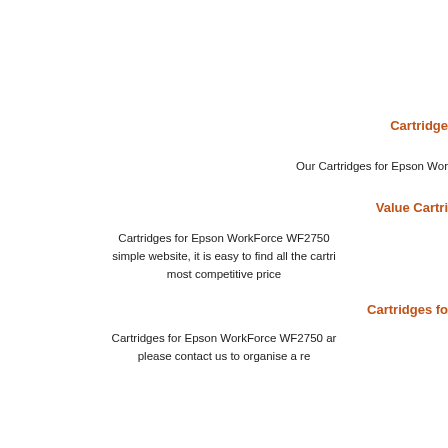Cartridge
Our Cartridges for Epson Wor
Value Cartri
Cartridges for Epson WorkForce WF2750 simple website, it is easy to find all the cartri most competitive price
Cartridges fo
Cartridges for Epson WorkForce WF2750 ar please contact us to organise a re
You can pay by Visa, Mastercard, Paypal, Ch absolutely no surcharge for using credit car processed by ANZ egate, we do NOT store
When will my Cartridge
In most cases you will receive your Cartridges outside the next day express post
Shipping cost is normaly $6.5, however, if cartridges(including refill ink and kits), or $1 postage ite
How